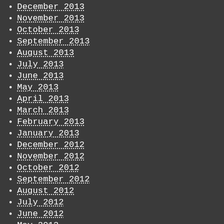December 2013
November 2013
October 2013
September 2013
August 2013
July 2013
June 2013
May 2013
April 2013
March 2013
February 2013
January 2013
December 2012
November 2012
October 2012
September 2012
August 2012
July 2012
June 2012
May 2012
April 2012
March 2012